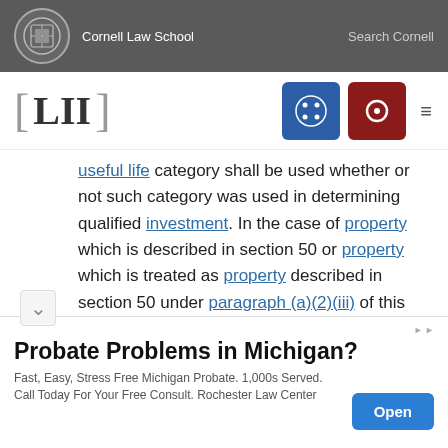Cornell Law School  Search Cornell
[Figure (logo): LII Legal Information Institute logo with navigation icons]
useful life category shall be used whether or not such category was used in determining qualified investment. In the case of property which is described in section 50 or property which is treated as property described in section 50 under paragraph (a)(2)(iii) of this section (other than property the qualified investment with respect to which was determined by use of the standard or an appropriate mortality dispersion table), this
[Figure (infographic): Advertisement: Probate Problems in Michigan? Fast, Easy, Stress Free Michigan Probate. 1,000s Served. Call Today For Your Free Consult. Rochester Law Center. Open button.]